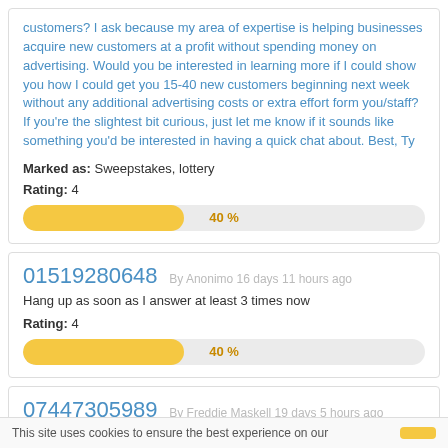customers? I ask because my area of expertise is helping businesses acquire new customers at a profit without spending money on advertising. Would you be interested in learning more if I could show you how I could get you 15-40 new customers beginning next week without any additional advertising costs or extra effort form you/staff? If you're the slightest bit curious, just let me know if it sounds like something you'd be interested in having a quick chat about. Best, Ty
Marked as: Sweepstakes, lottery
Rating: 4
[Figure (other): Progress bar showing 40%]
01519280648 By Anonimo 16 days 11 hours ago
Hang up as soon as I answer at least 3 times now
Rating: 4
[Figure (other): Progress bar showing 40%]
07447305989 By Freddie Maskell 19 days 5 hours ago
Hello, My name is Freddie. I regret to inform you that DynoData.co.uk
This site uses cookies to ensure the best experience on our